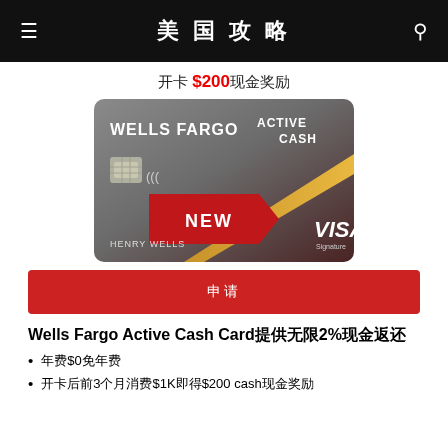美国攻略
开卡 $200现金奖励
[Figure (photo): Wells Fargo Active Cash Visa Signature credit card with 'NEW' banner, showing chip, cardholder name HENRY WELLS]
申请
Wells Fargo Active Cash Card提供无限2%现金返还
年费$0免年费
开卡后前3个月消费$1K即得$200 cash现金奖励